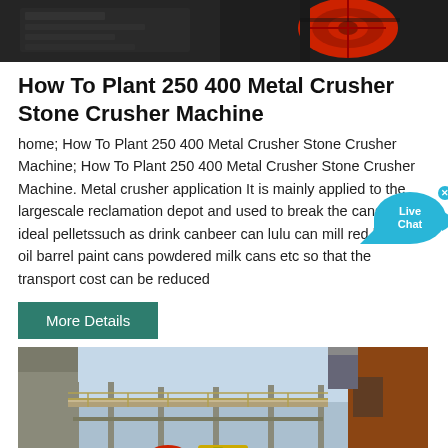[Figure (photo): Top portion of a metal crusher / stone crusher machine, showing dark metal frame on left and red mechanical component on right]
How To Plant 250 400 Metal Crusher Stone Crusher Machine
home; How To Plant 250 400 Metal Crusher Stone Crusher Machine; How To Plant 250 400 Metal Crusher Stone Crusher Machine. Metal crusher application It is mainly applied to the largescale reclamation depot and used to break the cans into ideal pelletssuch as drink canbeer can lulu can mill red bull cans oil barrel paint cans powdered milk cans etc so that the transport cost can be reduced
[Figure (photo): Industrial stone crusher plant facility with steel frame structure, walkways, and machinery visible including crusher equipment in an outdoor industrial setting]